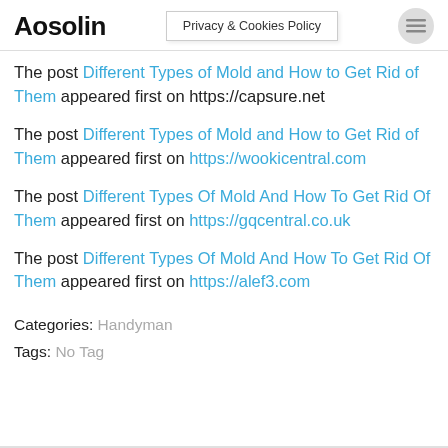Aosolin | Privacy & Cookies Policy
The post Different Types of Mold and How to Get Rid of Them appeared first on https://capsure.net
The post Different Types of Mold and How to Get Rid of Them appeared first on https://wookicentral.com
The post Different Types Of Mold And How To Get Rid Of Them appeared first on https://gqcentral.co.uk
The post Different Types Of Mold And How To Get Rid Of Them appeared first on https://alef3.com
Categories: Handyman
Tags: No Tag